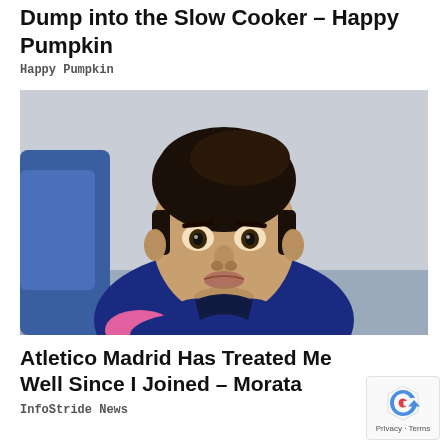Dump into the Slow Cooker – Happy Pumpkin
Happy Pumpkin
[Figure (photo): Close-up portrait of a young man with dark hair wearing a blue jacket with pink accents, appearing to be a football/soccer player on the bench]
Atletico Madrid Has Treated Me Well Since I Joined – Morata
InfoStride News